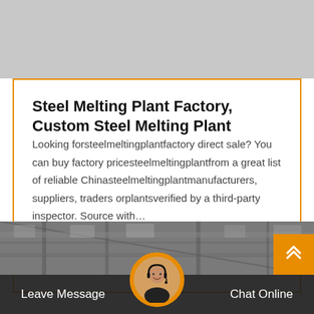Steel Melting Plant Factory, Custom Steel Melting Plant
Looking forsteelmeltingplantfactory direct sale? You can buy factory pricesteelmeltingplantfrom a great list of reliable Chinasteelmeltingplantmanufacturers, suppliers, traders orplantsverified by a third-party inspector. Source with…
[Figure (other): Orange rounded button labeled 'Get Price']
[Figure (photo): Factory/industrial building interior photo with steel structures]
[Figure (other): Orange scroll-to-top button with double chevron up arrows]
[Figure (other): Customer service representative avatar circle at bottom center]
Leave Message
Chat Online